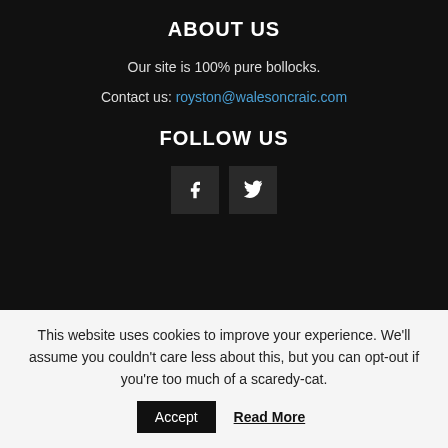ABOUT US
Our site is 100% pure bollocks.
Contact us: royston@walesoncraic.com
FOLLOW US
[Figure (other): Facebook and Twitter social media icon buttons]
This website uses cookies to improve your experience. We'll assume you couldn't care less about this, but you can opt-out if you're too much of a scaredy-cat.